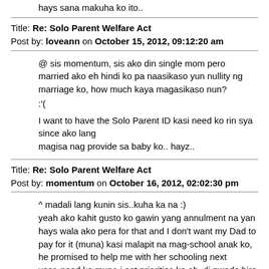hays sana makuha ko ito..
Title: Re: Solo Parent Welfare Act
Post by: loveann on October 15, 2012, 09:12:20 am
@ sis momentum, sis ako din single mom pero married ako eh hindi ko pa naasikaso yun nullity ng marriage ko, how much kaya magasikaso nun?
:'(

I want to have the Solo Parent ID kasi need ko rin sya since ako lang
magisa nag provide sa baby ko.. hayz..
Title: Re: Solo Parent Welfare Act
Post by: momentum on October 16, 2012, 02:02:30 pm
^ madali lang kunin sis..kuha ka na :)
yeah ako kahit gusto ko gawin yang annulment na yan hays wala ako pera for that and I don't want my Dad to pay for it (muna) kasi malapit na mag-school anak ko, he promised to help me with her schooling next year..need ko muna i-set priorities ko eh..di pwede bira lang ng bira, tsaka sinuswerte naman ex ko na uupo lang siya at aantayin niyang ma-annul kami samantalang ako nagkakadarapa taking care of our kid and spending for the annulment  >:( kaya tinggal ko muna siya sa priorities ko..baby steps muna ako until makabangon ako